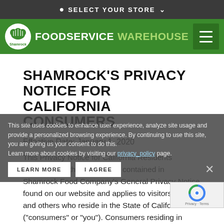SELECT YOUR STORE
[Figure (logo): Shamrock Foodservice Warehouse logo with green background and hamburger menu button]
SHAMROCK'S PRIVACY NOTICE FOR CALIFORNIA CONSUMERS
Effective Date: January 1, 2020
This Privacy Notice for California Residents supplements the information contained in Shamrock Food Company's General Privacy Notice found on our website and applies to visitors, users, and others who reside in the State of California ("consumers" or "you"). Consumers residing in California have certain
This site uses cookies to enhance user experience, analyze site usage and provide a personalized browsing experience. By continuing to use this site, you are giving us your consent to do this. Learn more about cookies by visiting our privacy_policy page.